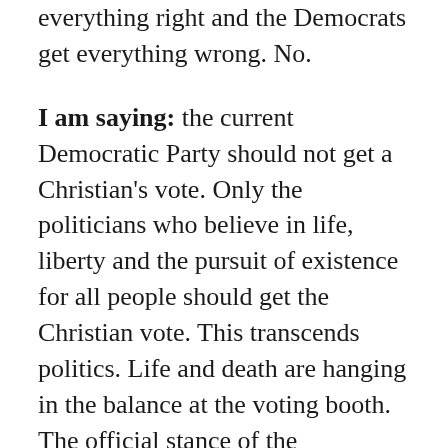everything right and the Democrats get everything wrong. No.
I am saying: the current Democratic Party should not get a Christian's vote. Only the politicians who believe in life, liberty and the pursuit of existence for all people should get the Christian vote. This transcends politics. Life and death are hanging in the balance at the voting booth. The official stance of the Democratic Party is pro-abortion. Their website states: “The Democratic Party strongly and unequivocally supports Roe v. Wade and a woman’s right to make decisions regarding her pregnancy, including a safe and legal